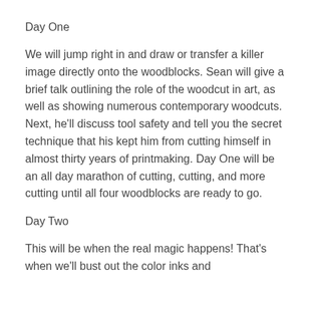Day One
We will jump right in and draw or transfer a killer image directly onto the woodblocks. Sean will give a brief talk outlining the role of the woodcut in art, as well as showing numerous contemporary woodcuts. Next, he'll discuss tool safety and tell you the secret technique that his kept him from cutting himself in almost thirty years of printmaking. Day One will be an all day marathon of cutting, cutting, and more cutting until all four woodblocks are ready to go.
Day Two
This will be when the real magic happens! That's when we'll bust out the color inks and